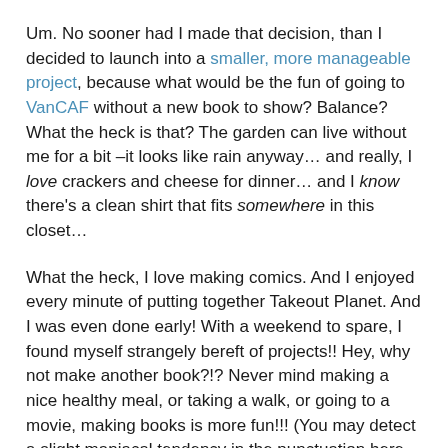Um. No sooner had I made that decision, than I decided to launch into a smaller, more manageable project, because what would be the fun of going to VanCAF without a new book to show? Balance? What the heck is that? The garden can live without me for a bit –it looks like rain anyway… and really, I love crackers and cheese for dinner… and I know there's a clean shirt that fits somewhere in this closet…
What the heck, I love making comics. And I enjoyed every minute of putting together Takeout Planet. And I was even done early! With a weekend to spare, I found myself strangely bereft of projects!! Hey, why not make another book?!? Never mind making a nice healthy meal, or taking a walk, or going to a movie, making books is more fun!!! (You may detect a slight maniacal tendency in the punctuation here – just remember I'm a cartoonist.)
So I put together a darling little book of my drawings from the